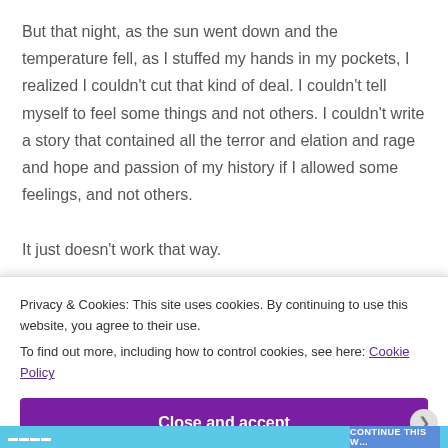But that night, as the sun went down and the temperature fell, as I stuffed my hands in my pockets, I realized I couldn't cut that kind of deal. I couldn't tell myself to feel some things and not others. I couldn't write a story that contained all the terror and elation and rage and hope and passion of my history if I allowed some feelings, and not others.

It just doesn't work that way.

You have to feel all of it.
Privacy & Cookies: This site uses cookies. By continuing to use this website, you agree to their use.
To find out more, including how to control cookies, see here: Cookie Policy
Close and accept